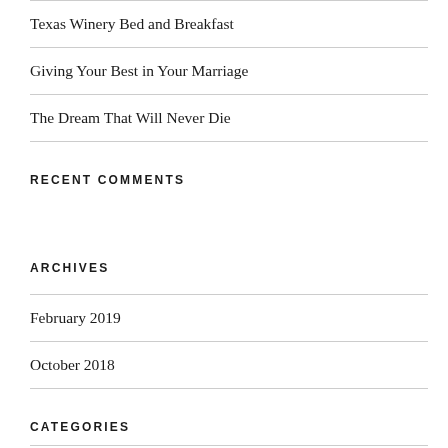Texas Winery Bed and Breakfast
Giving Your Best in Your Marriage
The Dream That Will Never Die
RECENT COMMENTS
ARCHIVES
February 2019
October 2018
CATEGORIES